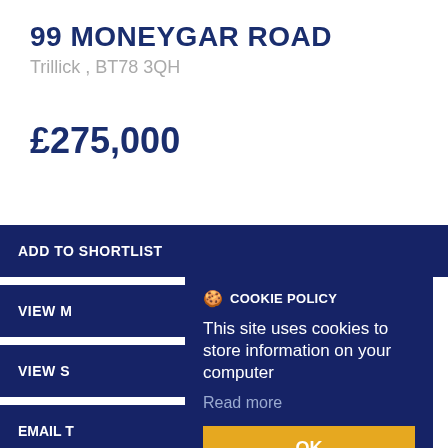99 MONEYGAR ROAD
Trillick , BT78 3QH
£275,000
ADD TO SHORTLIST
VIEW M
VIEW S
PRINTE
EMAIL T
MAKE E
COOKIE POLICY
This site uses cookies to store information on your computer
Read more
OK